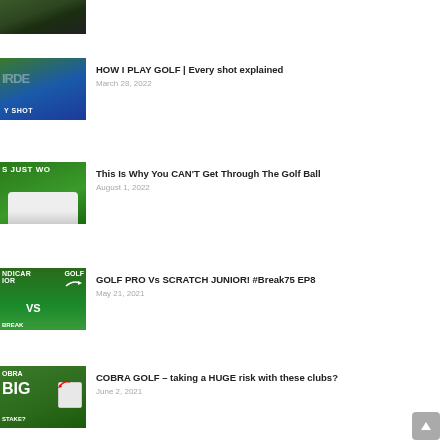[Figure (photo): Partial golf course thumbnail at top, cropped]
HOW I PLAY GOLF | Every shot explained
March 28, 2022
This Is Why You CAN'T Get Through The Golf Ball
August 1, 2022
GOLF PRO Vs SCRATCH JUNIOR! #Break75 EP8
May 21, 2021
COBRA GOLF – taking a HUGE risk with these clubs?
June 2, 2021